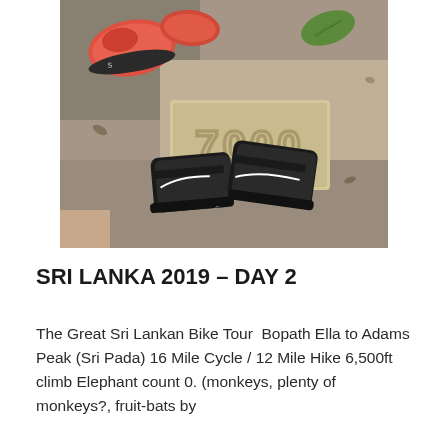[Figure (photo): Overhead view of two pairs of shoes standing on a stone marker engraved with '7000'. One pair is red/pink trail running shoes with black soles visible at top. The other pair is black Salomon trail shoes on the marker. A green leaf is visible in the upper right area. The background is sandy/concrete ground with some debris.]
SRI LANKA 2019 – DAY 2
The Great Sri Lankan Bike Tour  Bopath Ella to Adams Peak (Sri Pada) 16 Mile Cycle / 12 Mile Hike 6,500ft climb Elephant count 0. (monkeys, plenty of monkeys?, fruit-bats by